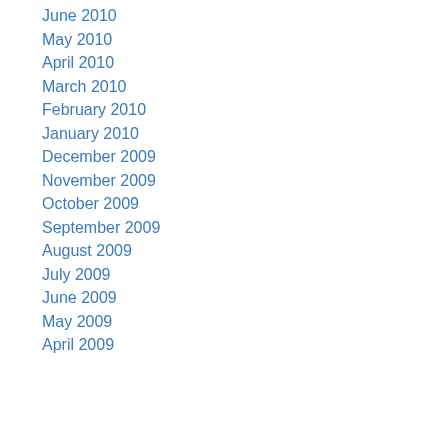June 2010
May 2010
April 2010
March 2010
February 2010
January 2010
December 2009
November 2009
October 2009
September 2009
August 2009
July 2009
June 2009
May 2009
April 2009